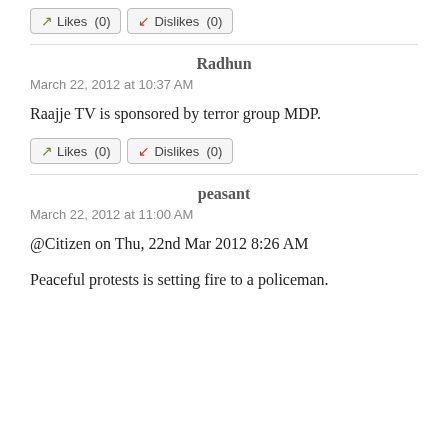Likes (0)  Dislikes (0)
Radhun
March 22, 2012 at 10:37 AM

Raajje TV is sponsored by terror group MDP.

Likes (0)  Dislikes (0)
peasant
March 22, 2012 at 11:00 AM

@Citizen on Thu, 22nd Mar 2012 8:26 AM

Peaceful protests is setting fire to a policeman.